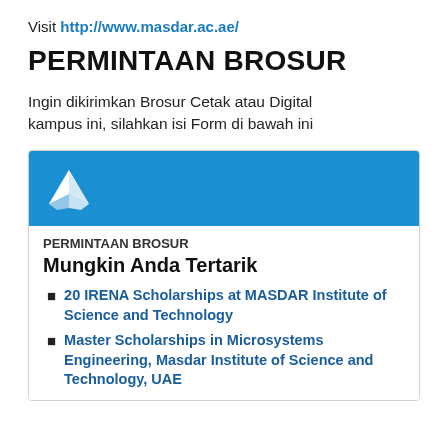Visit http://www.masdar.ac.ae/
PERMINTAAN BROSUR
Ingin dikirimkan Brosur Cetak atau Digital kampus ini, silahkan isi Form di bawah ini
[Figure (screenshot): Masdar Institute card with blue header showing origami bird logo, label PERMINTAAN BROSUR, subtitle Mungkin Anda Tertarik, and two bullet list links in dark blue bold text]
20 IRENA Scholarships at MASDAR Institute of Science and Technology
Master Scholarships in Microsystems Engineering, Masdar Institute of Science and Technology, UAE